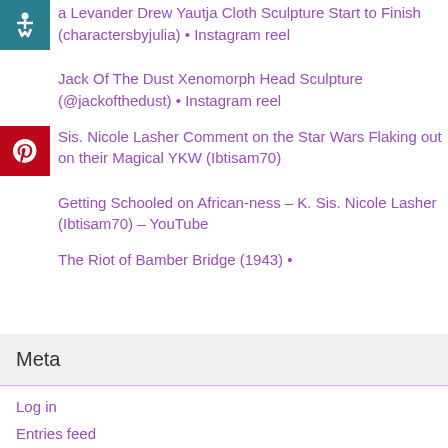a Levander Drew Yautja Cloth Sculpture Start to Finish (charactersbyjulia) • Instagram reel
Jack Of The Dust Xenomorph Head Sculpture (@jackofthedust) • Instagram reel
Sis. Nicole Lasher Comment on the Star Wars Flaking out on their Magical YKW (Ibtisam70)
Getting Schooled on African-ness – K. Sis. Nicole Lasher (Ibtisam70) – YouTube
The Riot of Bamber Bridge (1943) •
Meta
Log in
Entries feed